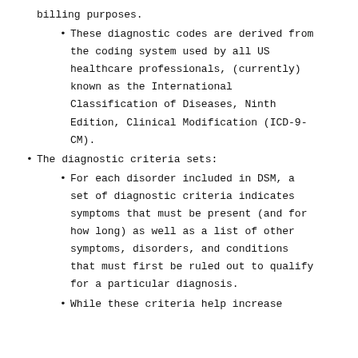billing purposes.
These diagnostic codes are derived from the coding system used by all US healthcare professionals, (currently) known as the International Classification of Diseases, Ninth Edition, Clinical Modification (ICD-9-CM).
The diagnostic criteria sets:
For each disorder included in DSM, a set of diagnostic criteria indicates symptoms that must be present (and for how long) as well as a list of other symptoms, disorders, and conditions that must first be ruled out to qualify for a particular diagnosis.
While these criteria help increase